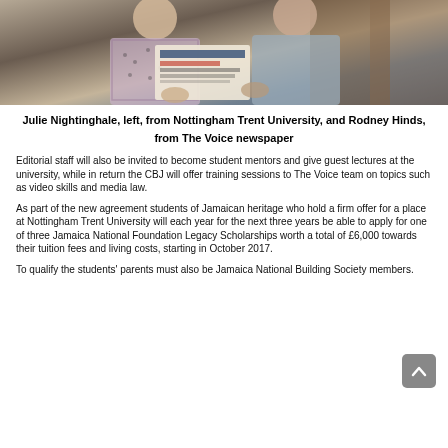[Figure (photo): Two people standing together holding a copy of The Voice newspaper, showing a woman on the left in a patterned dress and a man on the right in a grey suit]
Julie Nightinghale, left, from Nottingham Trent University, and Rodney Hinds, from The Voice newspaper
Editorial staff will also be invited to become student mentors and give guest lectures at the university, while in return the CBJ will offer training sessions to The Voice team on topics such as video skills and media law.
As part of the new agreement students of Jamaican heritage who hold a firm offer for a place at Nottingham Trent University will each year for the next three years be able to apply for one of three Jamaica National Foundation Legacy Scholarships worth a total of £6,000 towards their tuition fees and living costs, starting in October 2017.
To qualify the students' parents must also be Jamaica National Building Society members.